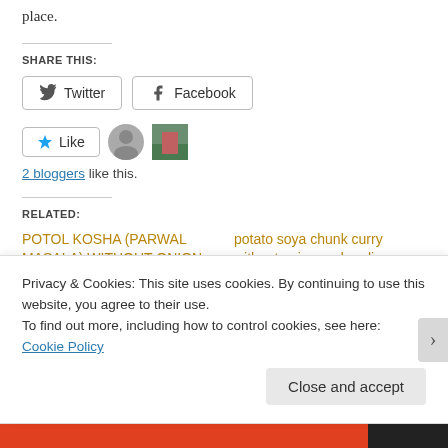place.
SHARE THIS:
Twitter  Facebook
Like  [2 blogger avatars]
2 bloggers like this.
RELATED:
POTOL KOSHA (PARWAL MASALA) WITHOUT ONION AND GARLIC
potato soya chunk curry without onion and garlic
May 11, 2020
Privacy & Cookies: This site uses cookies. By continuing to use this website, you agree to their use.
To find out more, including how to control cookies, see here: Cookie Policy
Close and accept